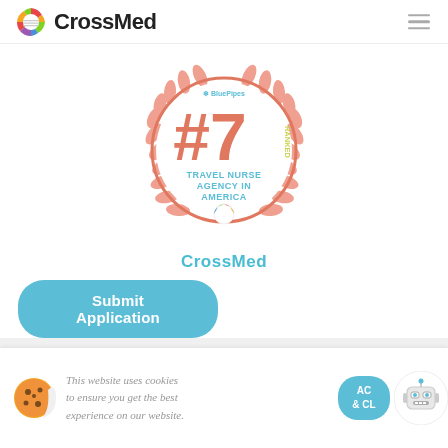CrossMed
[Figure (logo): CrossMed logo with colorful circle icon and bold text 'CrossMed']
[Figure (illustration): BluePipes badge: #7 RANKED TRAVEL NURSE AGENCY IN AMERICA, with laurel wreath and CrossMed logo at bottom, coral/salmon color scheme with teal text]
CrossMed
Submit Application
This website uses cookies to ensure you get the best experience on our website.